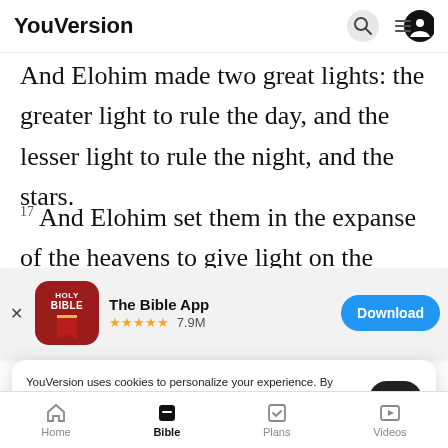YouVersion
And Elohim made two great lights: the greater light to rule the day, and the lesser light to rule the night, and the stars.
17 And Elohim set them in the expanse of the heavens to give light on the earth
[Figure (screenshot): App download banner for The Bible App with Holy Bible icon, 5 star rating, 7.9M ratings, and Download button]
separate the light from the darkness.
Elohim
19 An
YouVersion uses cookies to personalize your experience. By using our website, you accept our use of cookies as described in our Privacy Policy.
Home  Bible  Plans  Videos